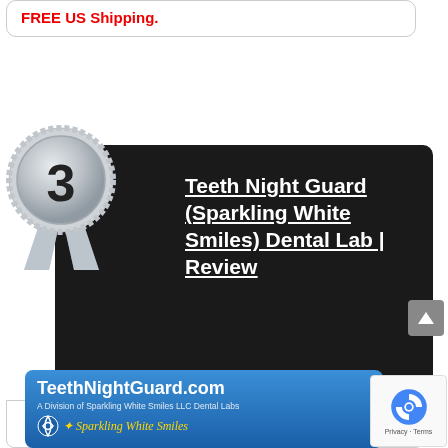FREE US Shipping.
[Figure (illustration): Silver #3 ranking medal/ribbon badge with the number 3 in the center circle, with ribbon tails hanging below]
Teeth Night Guard (Sparkling White Smiles) Dental Lab | Review
[Figure (logo): TeethNightGuard.com banner logo on blue gradient background showing 'TeethNightGuard.com', 'A Division of Sparkling White Smiles LLC Dental Labs', and 'Sparkling White Smiles' with a decorative icon]
[Figure (other): Google reCAPTCHA badge with Privacy and Terms links]